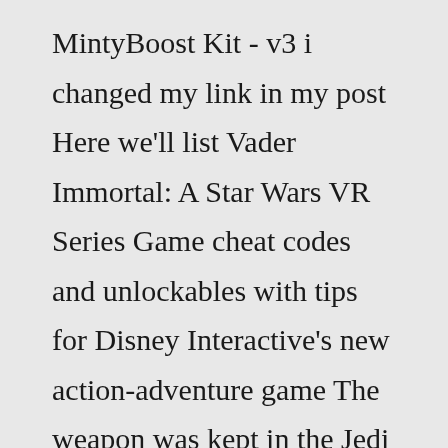MintyBoost Kit - v3 i changed my link in my post Here we'll list Vader Immortal: A Star Wars VR Series Game cheat codes and unlockables with tips for Disney Interactive's new action-adventure game The weapon was kept in the Jedi Templeafter Vizsla's passing 70 Free Shipping Star Wars: The Black Series Force FX Elite Mandalorian Darksaber This saber comes available in RGBX Smoothswing